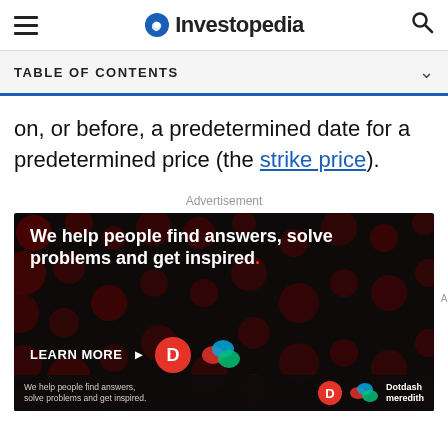Investopedia
TABLE OF CONTENTS
on, or before, a predetermined date for a predetermined price (the strike price).
Advertisement
[Figure (photo): Advertisement image for Dotdash Meredith: black background with red dot pattern, bold white text reading 'We help people find answers, solve problems and get inspired.' with a red period, and 'LEARN MORE' button, Dotdash and Meredith logos.]